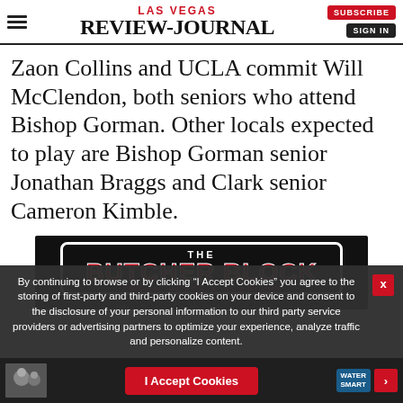LAS VEGAS REVIEW-JOURNAL | SUBSCRIBE | SIGN IN
Zaon Collins and UCLA commit Will McClendon, both seniors who attend Bishop Gorman. Other locals expected to play are Bishop Gorman senior Jonathan Braggs and Clark senior Cameron Kimble.
[Figure (other): Advertisement for The Butcher Block fresh meats and seafood on dark background with red text]
By continuing to browse or by clicking “I Accept Cookies” you agree to the storing of first-party and third-party cookies on your device and consent to the disclosure of your personal information to our third party service providers or advertising partners to optimize your experience, analyze traffic and personalize content.
I Accept Cookies